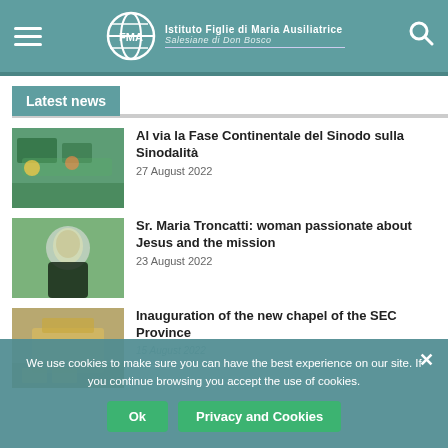Istituto Figlie di Maria Ausiliatrice - Salesiane di Don Bosco
Latest news
Al via la Fase Continentale del Sinodo sulla Sinodalità
27 August 2022
Sr. Maria Troncatti: woman passionate about Jesus and the mission
23 August 2022
Inauguration of the new chapel of the SEC Province
We use cookies to make sure you can have the best experience on our site. If you continue browsing you accept the use of cookies.
Ok   Privacy and Cookies